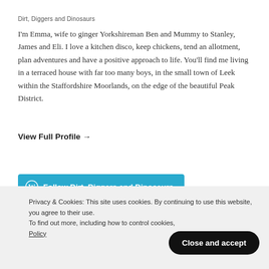Dirt, Diggers and Dinosaurs
I'm Emma, wife to ginger Yorkshireman Ben and Mummy to Stanley, James and Eli. I love a kitchen disco, keep chickens, tend an allotment, plan adventures and have a positive approach to life. You'll find me living in a terraced house with far too many boys, in the small town of Leek within the Staffordshire Moorlands, on the edge of the beautiful Peak District.
View Full Profile →
[Figure (other): Follow Dirt, Diggers and Dinosaurs button with WordPress logo on blue background]
Privacy & Cookies: This site uses cookies. By continuing to use this website, you agree to their use.
To find out more, including how to control cookies, see here: Cookie Policy
Close and accept